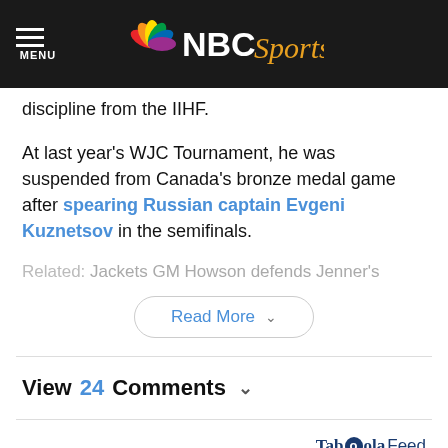NBC Sports
discipline from the IIHF.
At last year's WJC Tournament, he was suspended from Canada's bronze medal game after spearing Russian captain Evgeni Kuznetsov in the semifinals.
Related: Jackets GM Howson defends Jenner's
Read More
View 24 Comments
[Figure (logo): Taboola Feed logo]